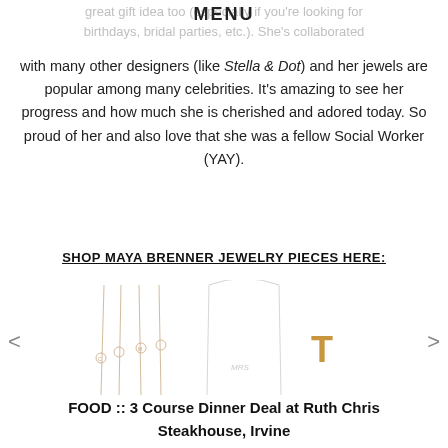MENU
great gift idea too (especially if you're looking for birthdays, bridal parties, etc.). She's collaborated with many other designers (like Stella & Dot) and her jewels are popular among many celebrities. It's amazing to see her progress and how much she is cherished and adored today. So proud of her and also love that she was a fellow Social Worker (YAY).
SHOP MAYA BRENNER JEWELRY PIECES HERE:
[Figure (photo): Carousel of Maya Brenner jewelry pieces: delicate necklaces with initials/letters, an MRS necklace, and a gold T initial pendant, with left and right navigation arrows]
FOOD :: 3 Course Dinner Deal at Ruth Chris Steakhouse, Irvine